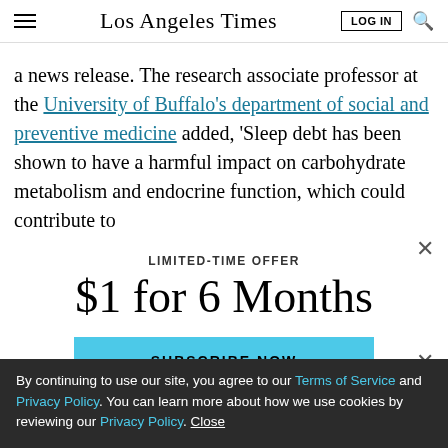Los Angeles Times
a news release. The research associate professor at the University of Buffalo's department of social and preventive medicine added, 'Sleep debt has been shown to have a harmful impact on carbohydrate metabolism and endocrine function, which could contribute to
LIMITED-TIME OFFER
$1 for 6 Months
SUBSCRIBE NOW
By continuing to use our site, you agree to our Terms of Service and Privacy Policy. You can learn more about how we use cookies by reviewing our Privacy Policy. Close